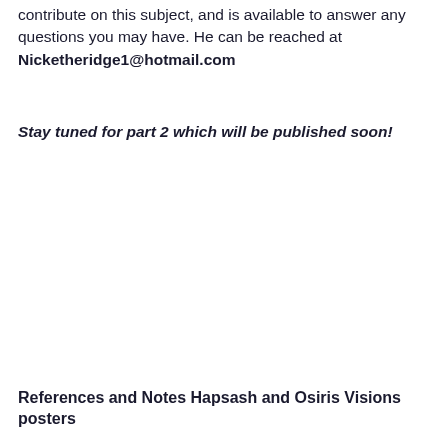contribute on this subject, and is available to answer any questions you may have. He can be reached at Nicketheridge1@hotmail.com
Stay tuned for part 2 which will be published soon!
References and Notes Hapsash and Osiris Visions posters